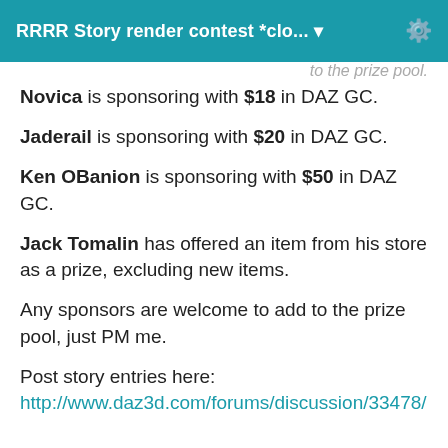RRRR Story render contest *clo... ▾
to the prize pool.
Novica is sponsoring with $18 in DAZ GC.
Jaderail is sponsoring with $20 in DAZ GC.
Ken OBanion is sponsoring with $50 in DAZ GC.
Jack Tomalin has offered an item from his store as a prize, excluding new items.
Any sponsors are welcome to add to the prize pool, just PM me.
Post story entries here: http://www.daz3d.com/forums/discussion/33478/